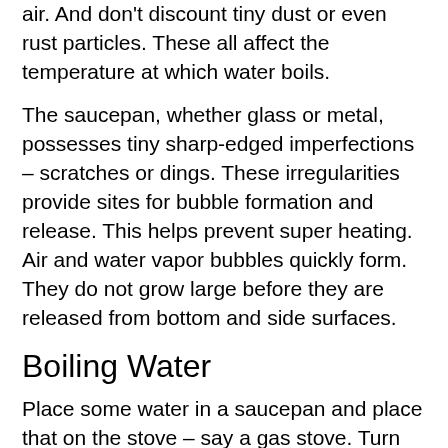air. And don't discount tiny dust or even rust particles. These all affect the temperature at which water boils.
The saucepan, whether glass or metal, possesses tiny sharp-edged imperfections – scratches or dings. These irregularities provide sites for bubble formation and release. This helps prevent super heating. Air and water vapor bubbles quickly form. They do not grow large before they are released from bottom and side surfaces.
Boiling Water
Place some water in a saucepan and place that on the stove – say a gas stove. Turn on the gas. What happens? The first thing that takes place is that the bottom of the saucepan heats up. As the water warms, a little turbulence results. This is because density